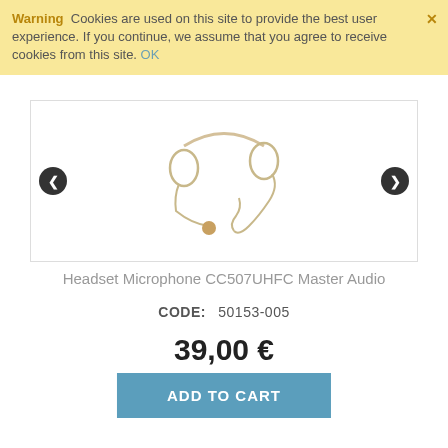Warning  Cookies are used on this site to provide the best user experience. If you continue, we assume that you agree to receive cookies from this site. OK
[Figure (photo): Headset microphone CC507UHFC Master Audio product image on white background, with left and right navigation arrows]
Headset Microphone CC507UHFC Master Audio
CODE:  50153-005
39,00 €
Without VAT: 31,45 €
Availability:  In stock
ADD TO CART